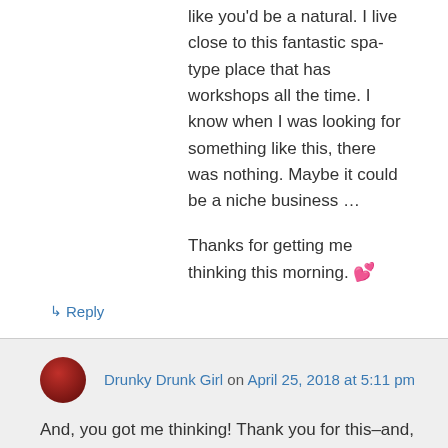like you'd be a natural. I live close to this fantastic spa-type place that has workshops all the time. I know when I was looking for something like this, there was nothing. Maybe it could be a niche business …
Thanks for getting me thinking this morning. 💕
↳ Reply
Drunky Drunk Girl on April 25, 2018 at 5:11 pm
And, you got me thinking! Thank you for this–and, yes, I have thought about leading some kind of sober retreat, and the writing-oriented one would be super-cool for